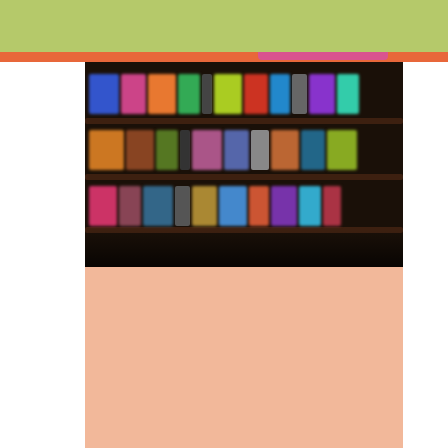Ready for School – navigation bar with hamburger menu, logo, Contact Us button, Give a Gift button
[Figure (screenshot): A blurred screenshot of a digital bookshelf interface showing colorful book covers arranged on dark wooden shelves in a grid of 3 rows and multiple columns]
[Figure (other): Solid peach/salmon colored background area below the bookshelf image, representing content area of the Ready for School website]